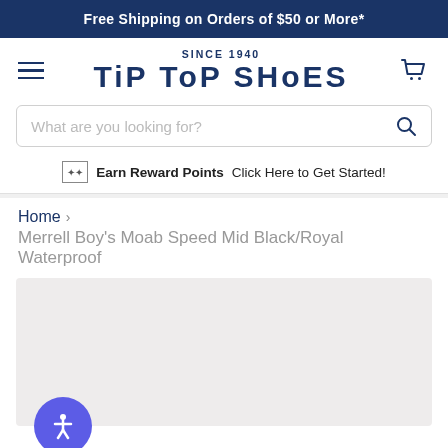Free Shipping on Orders of $50 or More*
[Figure (logo): Tip Top Shoes logo with 'SINCE 1940' text above in navy blue]
What are you looking for?
Earn Reward Points  Click Here to Get Started!
Home › Merrell Boy's Moab Speed Mid Black/Royal Waterproof
[Figure (photo): Light gray product image placeholder area for Merrell Boy's Moab Speed Mid Black/Royal Waterproof shoe]